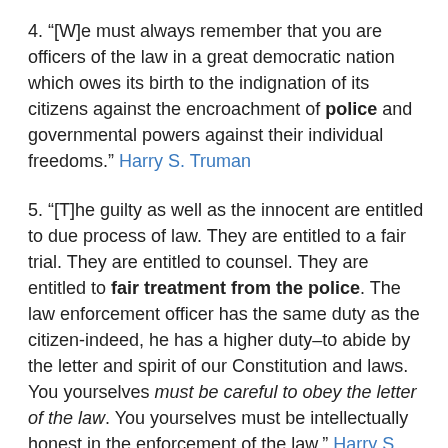4. “[W]e must always remember that you are officers of the law in a great democratic nation which owes its birth to the indignation of its citizens against the encroachment of police and governmental powers against their individual freedoms.” Harry S. Truman
5. “[T]he guilty as well as the innocent are entitled to due process of law. They are entitled to a fair trial. They are entitled to counsel. They are entitled to fair treatment from the police. The law enforcement officer has the same duty as the citizen-indeed, he has a higher duty–to abide by the letter and spirit of our Constitution and laws. You yourselves must be careful to obey the letter of the law. You yourselves must be intellectually honest in the enforcement of the law.” Harry S. Truman
6. “The friendless, the weak, the victims of prejudice and